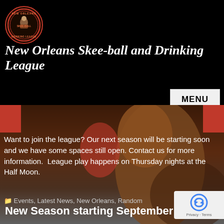[Figure (logo): New Orleans Skee-ball and Drinking League circular logo with red border, showing a person on a chair]
New Orleans Skee-ball and Drinking League
[Figure (illustration): Cartoon background illustration of a character, red banner strips on sides]
Want to join the league? Our next season will be starting soon and we have some spaces still open. Contact us for more information.  League play happens on Thursday nights at the Half Moon.
Events, Latest News, New Orleans, Random
New Season starting September 13th